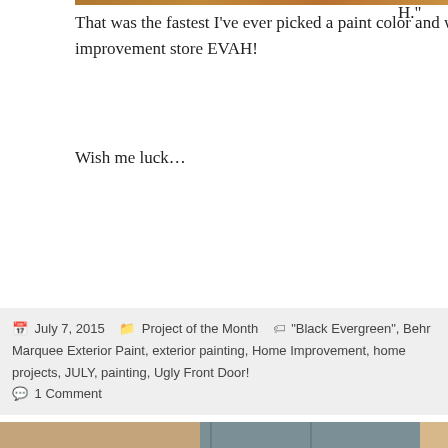[Figure (photo): Top portion of a photo showing a warm-toned scene (partial, cropped at top of page)]
That was the fastest I've ever picked a paint color and was in-n-out of a home improvement store EVAH!
Wish me luck...
July 7, 2015  Project of the Month  "Black Evergreen", Behr Marquee Exterior Paint, exterior painting, Home Improvement, home projects, JULY, painting, Ugly Front Door!  1 Comment
[Figure (photo): Photo of a front door painted in a blue-grey color (Black Evergreen by Behr), with raised panel detail, door hardware visible, set in a tan/beige exterior wall.]